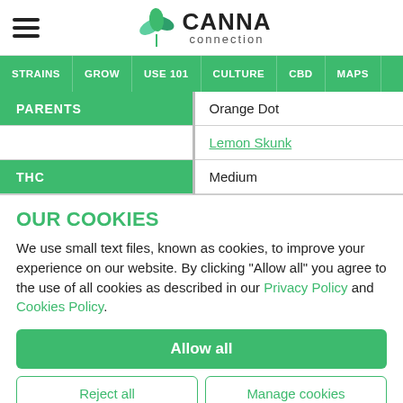[Figure (logo): Canna Connection logo with green cannabis leaf and text]
STRAINS | GROW | USE 101 | CULTURE | CBD | MAPS
| PARENTS |  |
| --- | --- |
| PARENTS | Orange Dot |
|  | Lemon Skunk |
| THC | Medium |
OUR COOKIES
We use small text files, known as cookies, to improve your experience on our website. By clicking "Allow all" you agree to the use of all cookies as described in our Privacy Policy and Cookies Policy.
Allow all
Reject all | Manage cookies